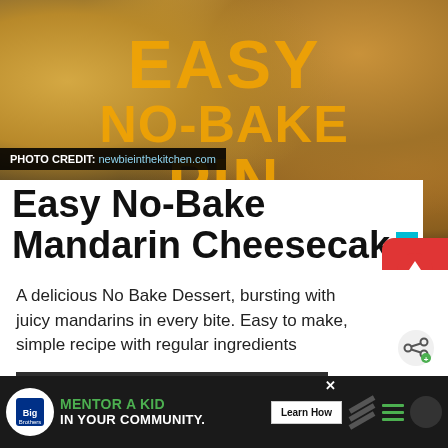[Figure (photo): Photo of Easy No-Bake Mandarin Cheesecake bars on a dark slate surface, with orange/yellow text overlay reading EASY NO BAKE PIN CHEESECAKE]
PHOTO CREDIT: newbieinthekitchen.com
Easy No-Bake Mandarin Cheesecake
A delicious No Bake Dessert, bursting with juicy mandarins in every bite. Easy to make, simple recipe with regular ingredients
Continue Reading
WHAT'S NEXT → Traditional Homemade...
[Figure (infographic): Advertisement banner: Big Brothers Big Sisters logo with text MENTOR A KID IN YOUR COMMUNITY. Learn How button, decorative stripes and menu icon]